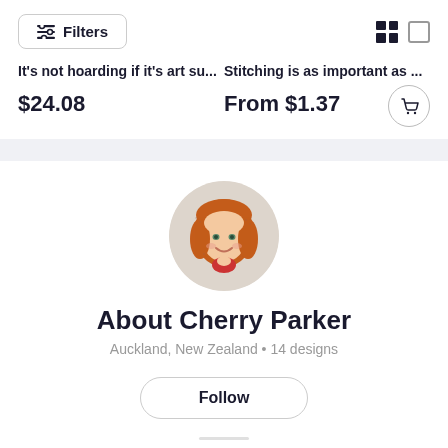[Figure (screenshot): Filters button with horizontal sliders icon on the left, and grid/list view toggle icons on the right]
It's not hoarding if it's art su...
Stitching is as important as ...
$24.08
From $1.37
[Figure (illustration): Circular avatar showing a cross-stitch illustration of a girl with red/orange hair, smiling]
About Cherry Parker
Auckland, New Zealand • 14 designs
Follow